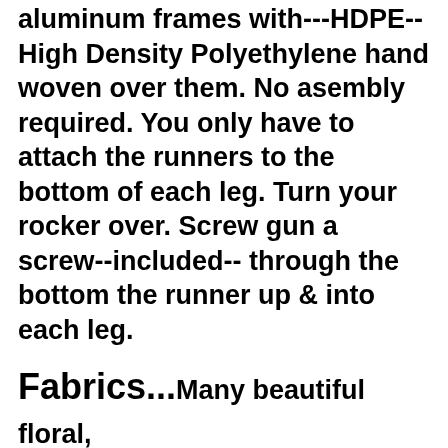aluminum frames with---HDPE-- High Density Polyethylene hand woven over them. No asembly required. You only have to attach the runners to the bottom of each leg. Turn your rocker over. Screw gun a screw--included-- through the bottom the runner up & into each leg.
Fabrics...
Many beautiful floral, stripes, or solid fabrics are available all at the same price. We also can have your cushions made with Sunbrella Fabric + $20-$27 per chair cushion, but